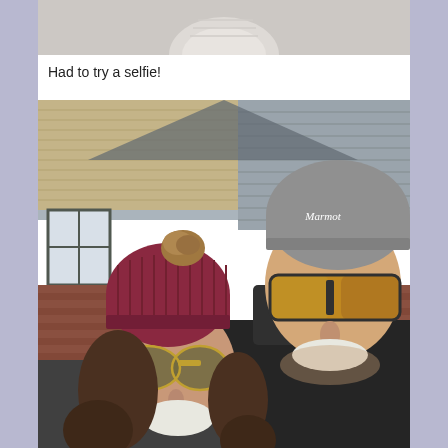[Figure (photo): Top portion of a photo showing what appears to be a hat or similar object against a light background, cropped at top of page]
Had to try a selfie!
[Figure (photo): Outdoor selfie photo of two people smiling in front of a house. On the right is a man wearing a gray Marmot beanie hat and yellow-tinted square sunglasses with a dark quilted jacket. On the left is a woman wearing a maroon/burgundy cable-knit pom-pom hat and gold-frame aviator sunglasses. They are smiling. Behind them is a house with beige siding, brick accents, white trim, and a window visible.]